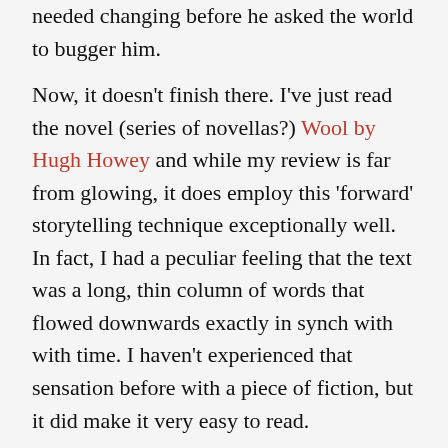needed changing before he asked the world to bugger him.
Now, it doesn't finish there. I've just read the novel (series of novellas?) Wool by Hugh Howey and while my review is far from glowing, it does employ this 'forward' storytelling technique exceptionally well. In fact, I had a peculiar feeling that the text was a long, thin column of words that flowed downwards exactly in synch with with time. I haven't experienced that sensation before with a piece of fiction, but it did make it very easy to read.
So, in short, things I've learnt recently are: if you don't love a bit of your story, it needs